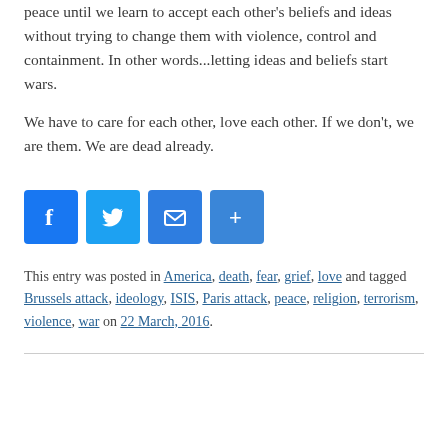peace until we learn to accept each other's beliefs and ideas without trying to change them with violence, control and containment. In other words...letting ideas and beliefs start wars.
We have to care for each other, love each other. If we don't, we are them. We are dead already.
[Figure (infographic): Four social sharing buttons: Facebook (blue), Twitter (blue), Email (blue), Share/More (blue)]
This entry was posted in America, death, fear, grief, love and tagged Brussels attack, ideology, ISIS, Paris attack, peace, religion, terrorism, violence, war on 22 March, 2016.